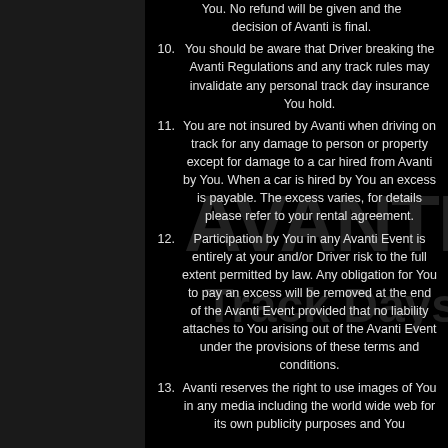(partial) You. No refund will be given and the decision of Avanti is final.
10. You should be aware that Driver breaking the Avanti Regulations and any track rules may invalidate any personal track day insurance You hold.
11. You are not insured by Avanti when driving on track for any damage to person or property except for damage to a car hired from Avanti by You. When a car is hired by You an excess is payable. The excess varies, for details please refer to your rental agreement.
12. Participation by You in any Avanti Event is entirely at your and/or Driver risk to the full extent permitted by law. Any obligation for You to pay an excess will be removed at the end of the Avanti Event provided that no liability attaches to You arising out of the Avanti Event under the provisions of these terms and conditions.
13. Avanti reserves the right to use images of You in any media including the world wide web for its own publicity purposes and You cons...